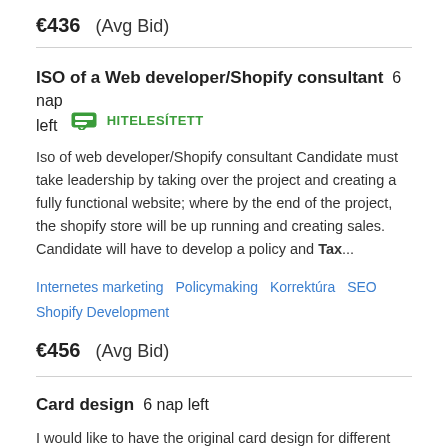€436  (Avg Bid)
ISO of a Web developer/Shopify consultant  6 nap left  HITELESÍTETT
Iso of web developer/Shopify consultant Candidate must take leadership by taking over the project and creating a fully functional website; where by the end of the project, the shopify store will be up running and creating sales. Candidate will have to develop a policy and Tax...
Internetes marketing   Policymaking   Korrektúra   SEO   Shopify Development
€456  (Avg Bid)
Card design  6 nap left
I would like to have the original card design for different professional sectors, 5 card-shaped designs for each one.